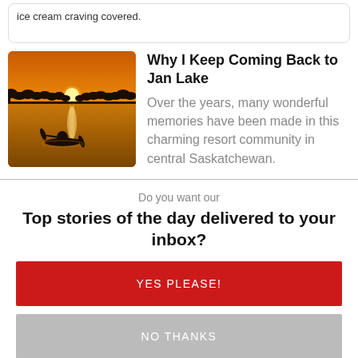ice cream craving covered.
[Figure (photo): Sunset over a lake with a person kayaking, silhouetted against an orange sky with sun reflecting on the water, trees in background.]
Why I Keep Coming Back to Jan Lake
Over the years, many wonderful memories have been made in this charming resort community in central Saskatchewan.
Do you want our
Top stories of the day delivered to your inbox?
YES PLEASE!
NO THANKS